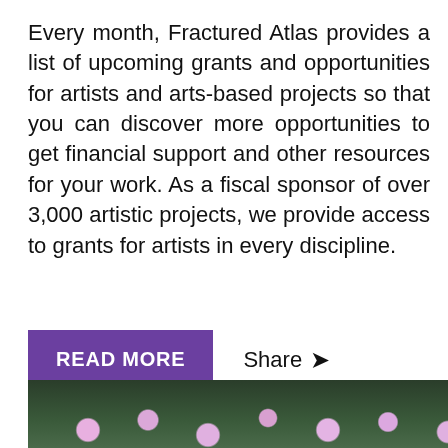Every month, Fractured Atlas provides a list of upcoming grants and opportunities for artists and arts-based projects so that you can discover more opportunities to get financial support and other resources for your work. As a fiscal sponsor of over 3,000 artistic projects, we provide access to grants for artists in every discipline.
READ MORE
Share
[Figure (photo): Partially visible photograph of pink/purple daisy-like flowers against a dark green background, cropped at the bottom of the page.]